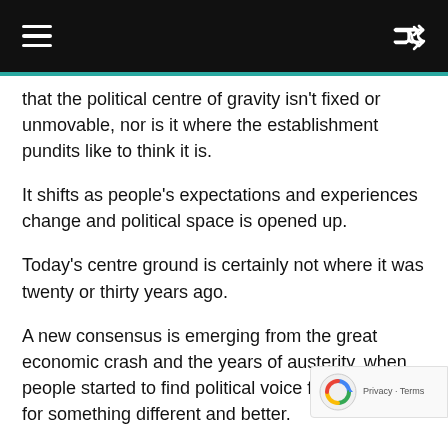navigation header with hamburger menu and shuffle icon
that the political centre of gravity isn't fixed or unmovable, nor is it where the establishment pundits like to think it is.
It shifts as people's expectations and experiences change and political space is opened up.
Today's centre ground is certainly not where it was twenty or thirty years ago.
A new consensus is emerging from the great economic crash and the years of austerity, when people started to find political voice for their hopes for something different and better.
2017 may be the year when politics finally caught up with the crash of 2008 – because we offered people a clear choice.